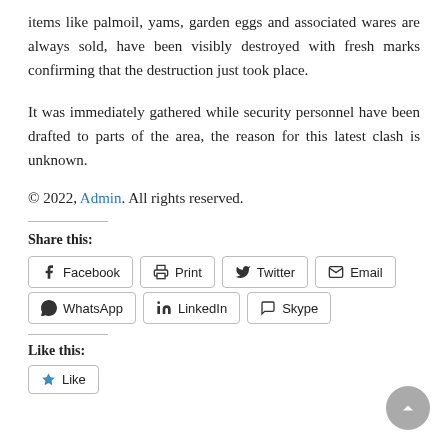items like palmoil, yams, garden eggs and associated wares are always sold, have been visibly destroyed with fresh marks confirming that the destruction just took place.
It was immediately gathered while security personnel have been drafted to parts of the area, the reason for this latest clash is unknown.
© 2022, Admin. All rights reserved.
Share this:
Facebook
Print
Twitter
Email
WhatsApp
LinkedIn
Skype
Like this:
Like